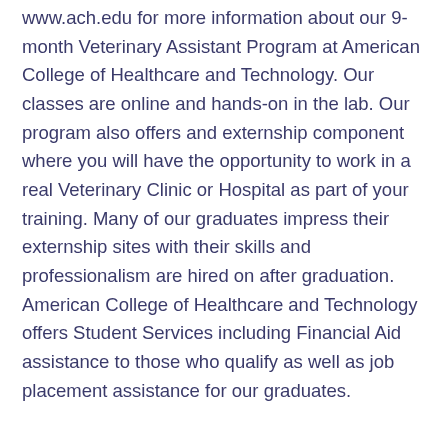www.ach.edu for more information about our 9-month Veterinary Assistant Program at American College of Healthcare and Technology. Our classes are online and hands-on in the lab. Our program also offers and externship component where you will have the opportunity to work in a real Veterinary Clinic or Hospital as part of your training. Many of our graduates impress their externship sites with their skills and professionalism are hired on after graduation. American College of Healthcare and Technology offers Student Services including Financial Aid assistance to those who qualify as well as job placement assistance for our graduates.